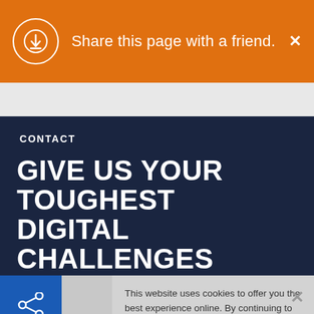Share this page with a friend.
CONTACT
GIVE US YOUR TOUGHEST DIGITAL CHALLENGES
This website uses cookies to offer you the best experience online. By continuing to use our website, you agree to the use of cookies. If you would like to know more about cookies and how to manage them please view our Privacy Policy & Cookies page.